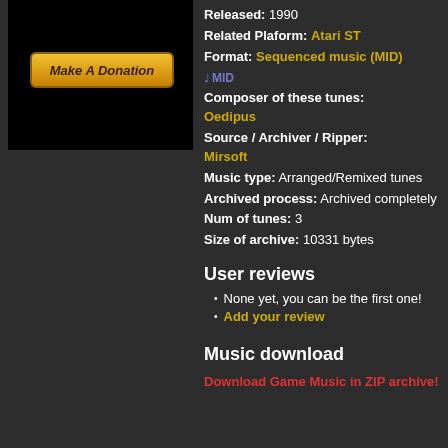[Figure (other): Black box with Make A Donation button (gold/orange gradient button with italic bold text)]
Released: 1990
Related Plaform: Atari ST
Format: Sequenced music (MID)
MID (music note icon with MID label)
Composer of these tunes: Oedipus
Source / Archiver / Ripper: Mirsoft
Music type: Arranged/Remixed tunes
Archived process: Archived completely
Num of tunes: 3
Size of archive: 10331 bytes
User reviews
None yet, you can be the first one!
Add your review
Music download
Download Game Music in ZIP archive!